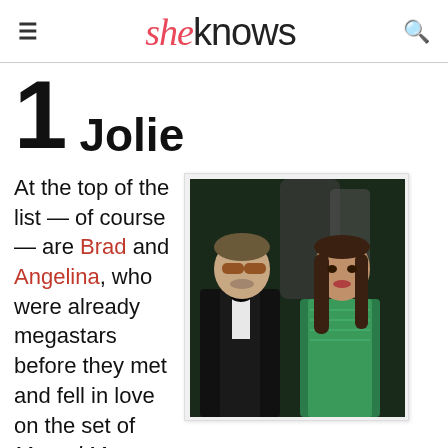sheknows
1 Jolie
At the top of the list — of course — are Brad and Angelina, who were already megastars before they met and fell in love on the set of Mr.and Mrs. Smith. Jolie became as famous for her acting chops as her
[Figure (photo): Photo of Brad Pitt and Angelina Jolie dressed formally at an event. Brad wears a black tuxedo and sunglasses; Angelina wears a green dress.]